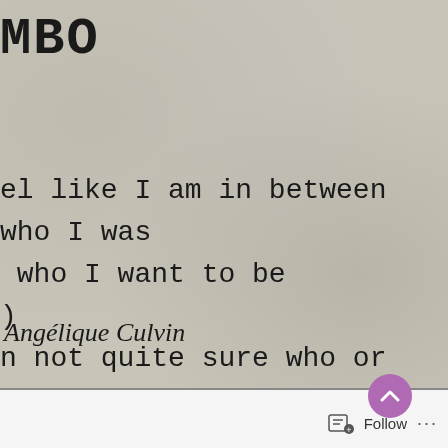MBO
el like I am in between who I was
who I want to be
)
n not quite sure who or what that
Angélique Culvin
Follow ...